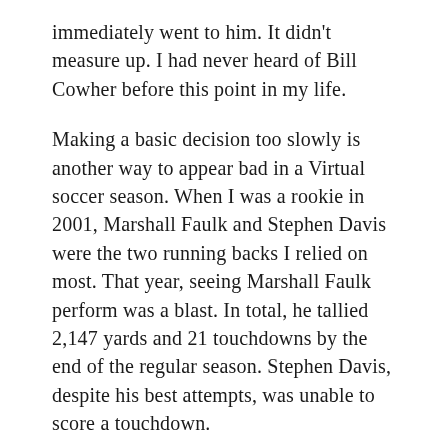immediately went to him. It didn't measure up. I had never heard of Bill Cowher before this point in my life.
Making a basic decision too slowly is another way to appear bad in a Virtual soccer season. When I was a rookie in 2001, Marshall Faulk and Stephen Davis were the two running backs I relied on most. That year, seeing Marshall Faulk perform was a blast. In total, he tallied 2,147 yards and 21 touchdowns by the end of the regular season. Stephen Davis, despite his best attempts, was unable to score a touchdown.
Only five touchdowns were scored by him in the entire game. As a runner in week 15 of the 2001 Virtual playoffs, I got off to a quick